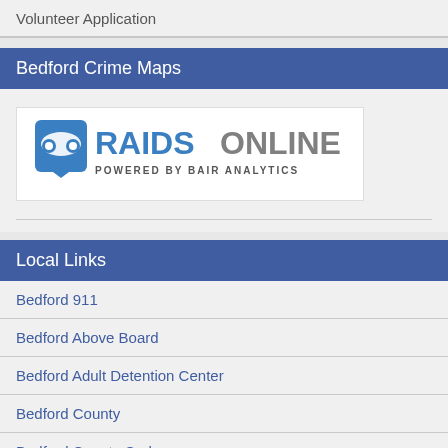Volunteer Application
Bedford Crime Maps
[Figure (logo): RaidsOnline logo — blue shield icon with mask, RAIDS in blue bold, ONLINE in gray bold, POWERED BY BAIR ANALYTICS below in dark gray]
Local Links
Bedford 911
Bedford Above Board
Bedford Adult Detention Center
Bedford County
Bedford County Code
Bedford County Fire & Rescue
Bedford Inmate Information